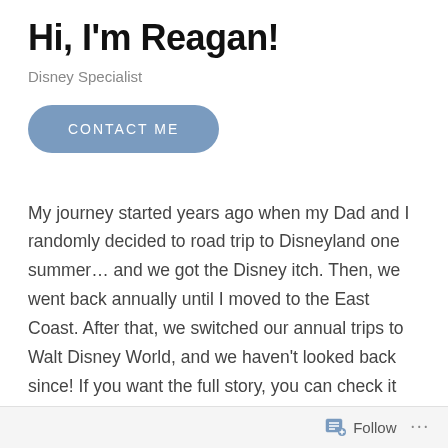Hi, I'm Reagan!
Disney Specialist
CONTACT ME
My journey started years ago when my Dad and I randomly decided to road trip to Disneyland one summer… and we got the Disney itch. Then, we went back annually until I moved to the East Coast. After that, we switched our annual trips to Walt Disney World, and we haven't looked back since! If you want the full story, you can check it out here.
I simply have a passion to help. Disney is expensive, and requires a lot of time away from regular life, and
Follow ...